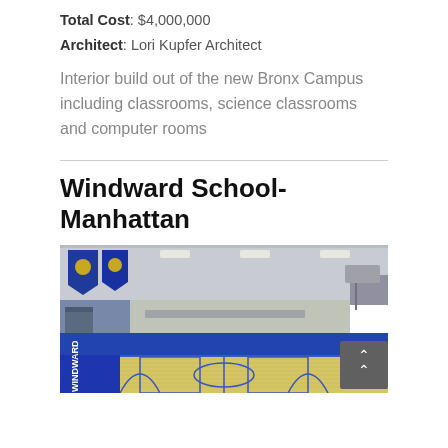Total Cost: $4,000,000
Architect: Lori Kupfer Architect
Interior build out of the new Bronx Campus including classrooms, science classrooms and computer rooms
Windward School-Manhattan
[Figure (photo): Interior photo of a school gymnasium with blue and yellow court markings, blue padded walls, basketball hoops, and banners on the wall. The text 'THE WINDWARD SCHOOL' is visible on the wall.]